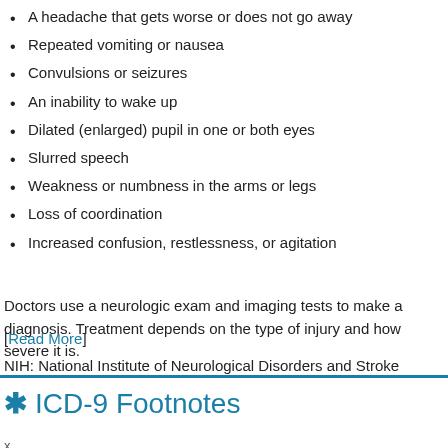A headache that gets worse or does not go away
Repeated vomiting or nausea
Convulsions or seizures
An inability to wake up
Dilated (enlarged) pupil in one or both eyes
Slurred speech
Weakness or numbness in the arms or legs
Loss of coordination
Increased confusion, restlessness, or agitation
Doctors use a neurologic exam and imaging tests to make a diagnosis. Treatment depends on the type of injury and how severe it is.
NIH: National Institute of Neurological Disorders and Stroke
[Read More]
ICD-9 Footnotes